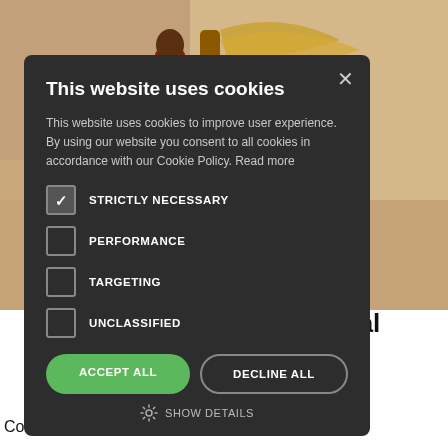[Figure (photo): Background photo of a person with a donkey in a desert/arid landscape]
This website uses cookies
This website uses cookies to improve user experience. By using our website you consent to all cookies in accordance with our Cookie Policy. Read more
STRICTLY NECESSARY (checked)
PERFORMANCE (unchecked)
TARGETING (unchecked)
UNCLASSIFIED (unchecked)
ACCEPT ALL
DECLINE ALL
SHOW DETAILS
: Virtual
major
opology and
Conservation. The aim of the conference is